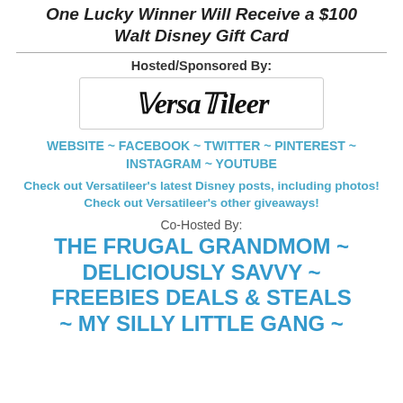One Lucky Winner Will Receive a $100 Walt Disney Gift Card
Hosted/Sponsored By:
[Figure (logo): VersaTileer logo in italic script font]
WEBSITE ~ FACEBOOK ~ TWITTER ~ PINTEREST ~ INSTAGRAM ~ YOUTUBE
Check out Versatileer's latest Disney posts, including photos! Check out Versatileer's other giveaways!
Co-Hosted By:
THE FRUGAL GRANDMOM ~ DELICIOUSLY SAVVY ~ FREEBIES DEALS & STEALS ~ MY SILLY LITTLE GANG ~